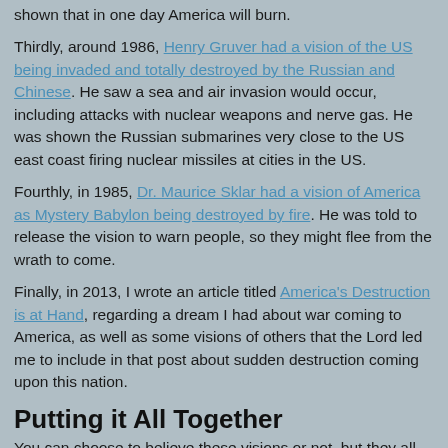shown that in one day America will burn.
Thirdly, around 1986, Henry Gruver had a vision of the US being invaded and totally destroyed by the Russian and Chinese. He saw a sea and air invasion would occur, including attacks with nuclear weapons and nerve gas. He was shown the Russian submarines very close to the US east coast firing nuclear missiles at cities in the US.
Fourthly, in 1985, Dr. Maurice Sklar had a vision of America as Mystery Babylon being destroyed by fire. He was told to release the vision to warn people, so they might flee from the wrath to come.
Finally, in 2013, I wrote an article titled America's Destruction is at Hand, regarding a dream I had about war coming to America, as well as some visions of others that the Lord led me to include in that post about sudden destruction coming upon this nation.
Putting it All Together
You can choose to believe these visions or not, but they all